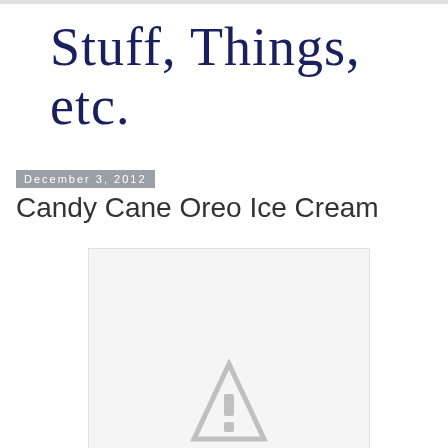Stuff, Things, etc.
December 3, 2012
Candy Cane Oreo Ice Cream
[Figure (photo): Partially visible image of ice cream, showing a loading/placeholder icon at the bottom center on a light gray background]